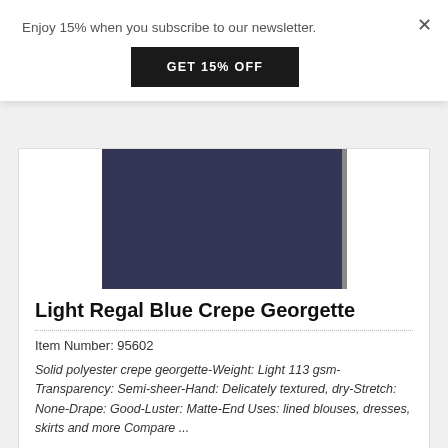Enjoy 15% when you subscribe to our newsletter.
GET 15% OFF
[Figure (photo): Dark navy blue fabric swatch - Light Regal Blue Crepe Georgette]
Light Regal Blue Crepe Georgette
Item Number: 95602
Solid polyester crepe georgette-Weight: Light 113 gsm-Transparency: Semi-sheer-Hand: Delicately textured, dry-Stretch: None-Drape: Good-Luster: Matte-End Uses: lined blouses, dresses, skirts and more Compare ...
$5.95 / Yard
[Figure (photo): Partial view of a grey-teal fabric swatch at bottom of page]